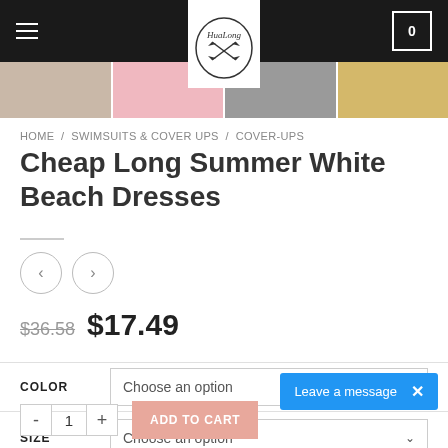HuaLong — navigation header with logo and cart
[Figure (photo): Strip of four product thumbnail images showing beach dresses in white, pink, grey, and yellow/gold colors]
HOME / SWIMSUITS & COVER UPS / COVER-UPS
Cheap Long Summer White Beach Dresses
$36.58  $17.49
COLOR  Choose an option
SIZE  Choose an option
- 1 +  ADD TO CART
Leave a message  ×